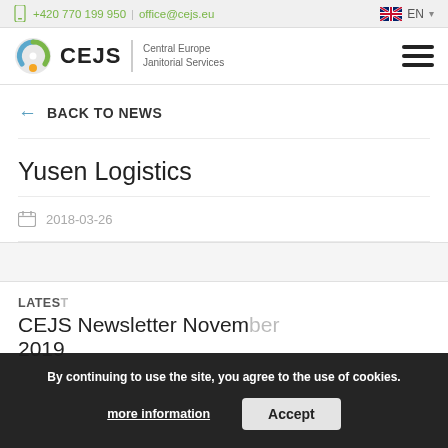+420 770 199 950 | office@cejs.eu  EN
[Figure (logo): CEJS Central Europe Janitorial Services logo with circular icon and hamburger menu icon]
← BACK TO NEWS
Yusen Logistics
2018-03-26
LATEST
CEJS Newsletter November
2019
By continuing to use the site, you agree to the use of cookies.
more information   Accept